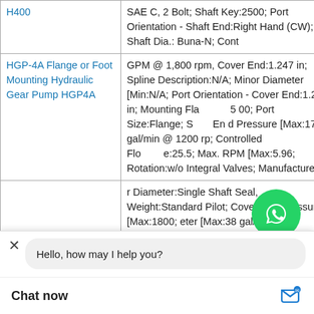| Product | Specifications |
| --- | --- |
| H400 | SAE C, 2 Bolt; Shaft Key:2500; Port Orientation - Shaft End:Right Hand (CW); Shaft Dia.: Buna-N; Cont |
| HGP-4A Flange or Foot Mounting Hydraulic Gear Pump HGP4A | GPM @ 1,800 rpm, Cover End:1.247 in; Spline Description:N/A; Minor Diameter [Min:N/A; Port Orientation - Cover End:1.25 in; Mounting Flange:500; Port Size:Flange; Shaft End Pressure [Max:17 gal/min @ 1200 rp; Controlled Flow:25.5; Max. RPM [Max:5.96; Rotation:w/o Integral Valves; Manufacturer |
|  | r Diameter:Single Shaft Seal, Weight:Standard Pilot; Cover End Pressure [Max:1800; eter [Max:38 gal/rp; Model No.:SA |
[Figure (illustration): WhatsApp Online button overlay with green circle and phone icon, and WhatsApp Online text label]
Hello, how may I help you?
Chat now